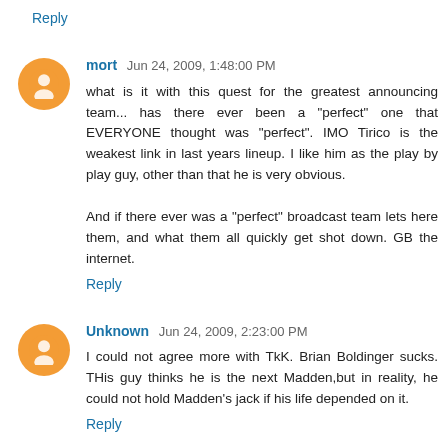Reply
mort  Jun 24, 2009, 1:48:00 PM
what is it with this quest for the greatest announcing team... has there ever been a "perfect" one that EVERYONE thought was "perfect". IMO Tirico is the weakest link in last years lineup. I like him as the play by play guy, other than that he is very obvious.

And if there ever was a "perfect" broadcast team lets here them, and what them all quickly get shot down. GB the internet.
Reply
Unknown  Jun 24, 2009, 2:23:00 PM
I could not agree more with TkK. Brian Boldinger sucks. THis guy thinks he is the next Madden,but in reality, he could not hold Madden's jack if his life depended on it.
Reply